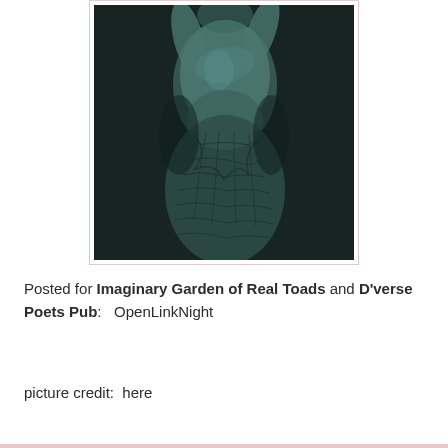[Figure (photo): Black and white artistic photograph of a human figure with body paint or netting pattern overlay, dark background, figure posed with hands near face]
Posted for Imaginary Garden of Real Toads and D'verse Poets Pub:   OpenLinkNight
picture credit:  here